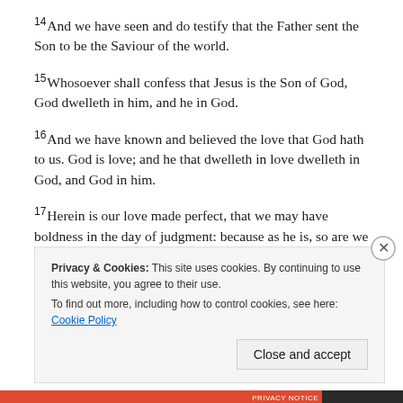14 And we have seen and do testify that the Father sent the Son to be the Saviour of the world.
15 Whosoever shall confess that Jesus is the Son of God, God dwelleth in him, and he in God.
16 And we have known and believed the love that God hath to us. God is love; and he that dwelleth in love dwelleth in God, and God in him.
17 Herein is our love made perfect, that we may have boldness in the day of judgment: because as he is, so are we in this world.
Privacy & Cookies: This site uses cookies. By continuing to use this website, you agree to their use. To find out more, including how to control cookies, see here: Cookie Policy. Close and accept.